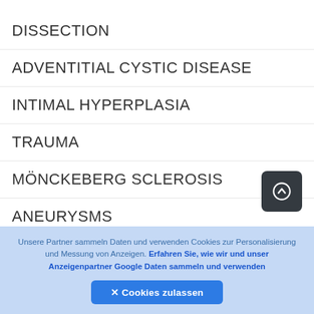DISSECTION
ADVENTITIAL CYSTIC DISEASE
INTIMAL HYPERPLASIA
TRAUMA
MÖNCKEBERG SCLEROSIS
ANEURYSMS
VASOSPASTIC DISORDERS
Unsere Partner sammeln Daten und verwenden Cookies zur Personalisierung und Messung von Anzeigen. Erfahren Sie, wie wir und unser Anzeigenpartner Google Daten sammeln und verwenden
✕ Cookies zulassen